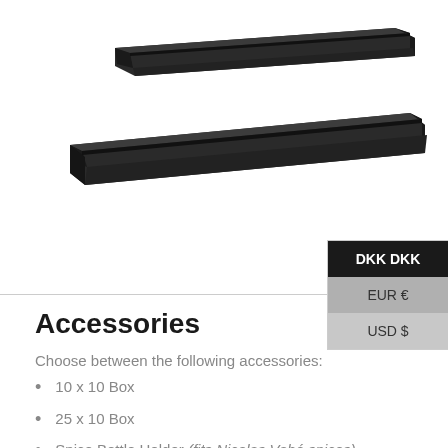[Figure (photo): Two black metal rail/track accessories shown at an angle on a white background.]
DKK DKK
EUR €
USD $
Accessories
Choose between the following accessories:
10 x 10 Box
25 x 10 Box
Spice Bottle Holder (fits Nicolas Vahé spices)
Ipad / Spice Holder
Cutting Board Holder